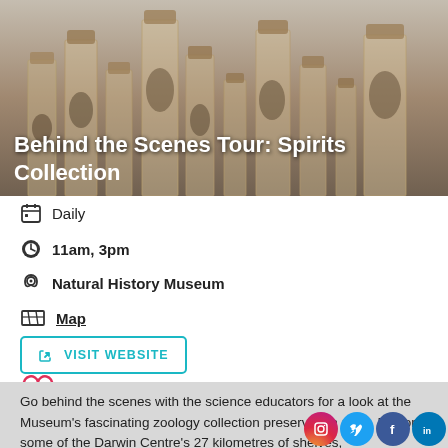[Figure (photo): Rows of glass specimen jars containing preserved zoological specimens in amber/yellow liquid, on a grey background.]
Behind the Scenes Tour: Spirits Collection
Daily
11am, 3pm
Natural History Museum
Map
VISIT WEBSITE
Go behind the scenes with the science educators for a look at the Museum's fascinating zoology collection preserved in spirit. Explore some of the Darwin Centre's 27 kilometres of shelves,